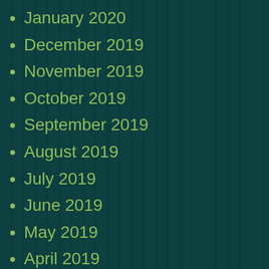January 2020
December 2019
November 2019
October 2019
September 2019
August 2019
July 2019
June 2019
May 2019
April 2019
March 2019
February 2019
January 2019
[Figure (photo): Small thumbnail image of a product box set]
Sp sp th
[Figure (photo): Small thumbnail image of a person outdoors]
Sh de ar th
st ar
Announcements
[Figure (screenshot): WordPress advertisement banner: Create immersive stories. GET THE APP with WordPress logo]